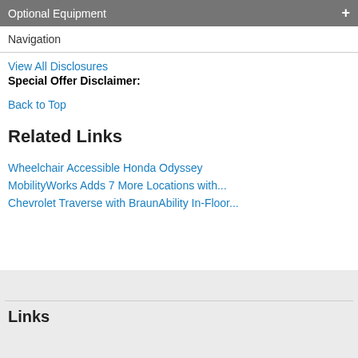Optional Equipment
Navigation
View All Disclosures
Special Offer Disclaimer:
Back to Top
Related Links
Wheelchair Accessible Honda Odyssey
MobilityWorks Adds 7 More Locations with...
Chevrolet Traverse with BraunAbility In-Floor...
Links